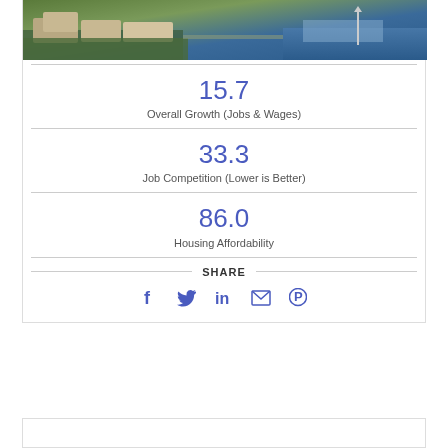[Figure (photo): Aerial photo of apartment buildings near a river/waterway with green spaces and a monument visible]
15.7
Overall Growth (Jobs & Wages)
33.3
Job Competition (Lower is Better)
86.0
Housing Affordability
SHARE